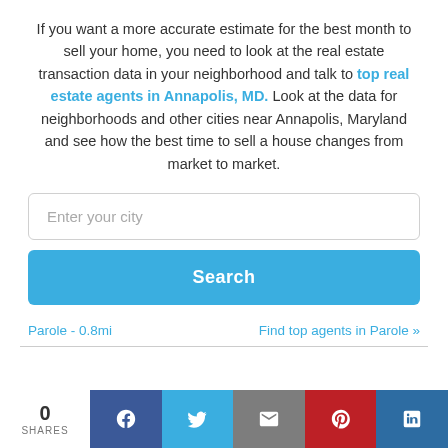If you want a more accurate estimate for the best month to sell your home, you need to look at the real estate transaction data in your neighborhood and talk to top real estate agents in Annapolis, MD. Look at the data for neighborhoods and other cities near Annapolis, Maryland and see how the best time to sell a house changes from market to market.
Enter your city (input field)
Search (button)
Parole - 0.8mi
Find top agents in Parole »
0 SHARES
[Figure (infographic): Social share bar with Facebook, Twitter, Email, Pinterest, LinkedIn buttons]